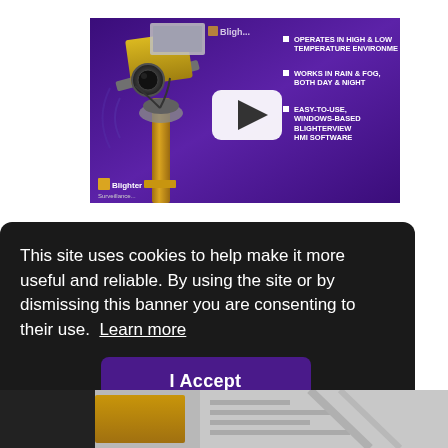[Figure (screenshot): Video thumbnail showing Blighter Surveillance radar/camera equipment mounted on a pole against a purple background, with bullet points listing: OPERATES IN HIGH & LOW TEMPERATURE ENVIRONMENTS, WORKS IN RAIN & FOG, BOTH DAY & NIGHT, EASY-TO-USE, WINDOWS-BASED BLIGHTERVIEW HMI SOFTWARE. A white play button is overlaid in the center.]
This site uses cookies to help make it more useful and reliable. By using the site or by dismissing this banner you are consenting to their use.  Learn more
I Accept
[Figure (photo): Bottom strip showing partial view of Blighter surveillance equipment and structure.]